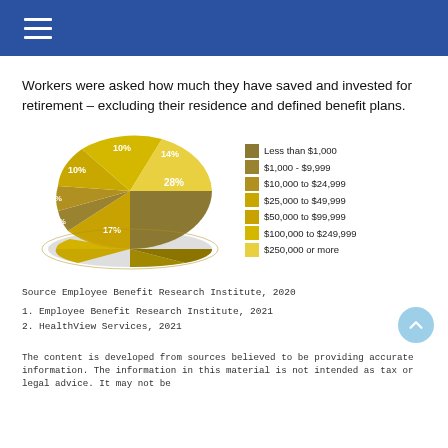Workers were asked how much they have saved and invested for retirement – excluding their residence and defined benefit plans.
[Figure (pie-chart): Retirement savings distribution]
Source Employee Benefit Research Institute, 2020
1. Employee Benefit Research Institute, 2021
2. HealthView Services, 2021
The content is developed from sources believed to be providing accurate information. The information in this material is not intended as tax or legal advice. It may not be